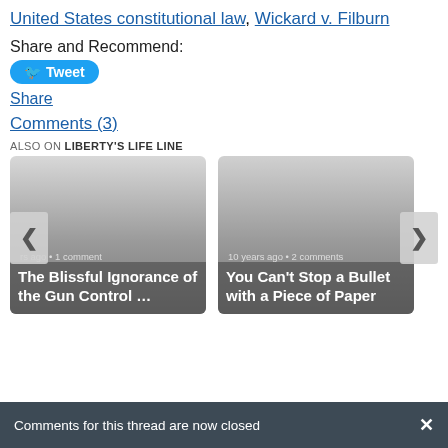United States constitutional law, Wickard v. Filburn
Share and Recommend:
Tweet
Share
Comments (3)
ALSO ON LIBERTY'S LIFE LINE
[Figure (screenshot): Card showing article: 'The Blissful Ignorance of the Gun Control …' with meta '... years ago • 1 comment']
[Figure (screenshot): Card showing article: 'You Can't Stop a Bullet with a Piece of Paper' with meta '10 years ago • 2 comments']
Comments for this thread are now closed